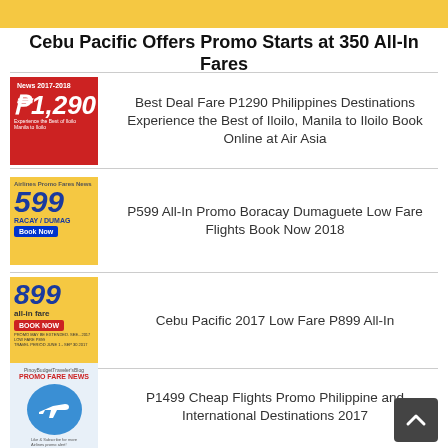[Figure (illustration): Yellow banner at top of page]
Cebu Pacific Offers Promo Starts at 350 All-In Fares
Best Deal Fare P1290 Philippines Destinations Experience the Best of Iloilo, Manila to Iloilo Book Online at Air Asia
P599 All-In Promo Boracay Dumaguete Low Fare Flights Book Now 2018
Cebu Pacific 2017 Low Fare P899 All-In
P1499 Cheap Flights Promo Philippine and International Destinations 2017